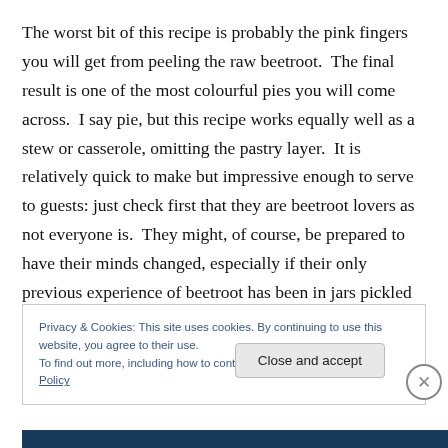The worst bit of this recipe is probably the pink fingers you will get from peeling the raw beetroot.  The final result is one of the most colourful pies you will come across.  I say pie, but this recipe works equally well as a stew or casserole, omitting the pastry layer.  It is relatively quick to make but impressive enough to serve to guests: just check first that they are beetroot lovers as not everyone is.  They might, of course, be prepared to have their minds changed, especially if their only previous experience of beetroot has been in jars pickled in vinegar, which is
Privacy & Cookies: This site uses cookies. By continuing to use this website, you agree to their use.
To find out more, including how to control cookies, see here: Cookie Policy
Close and accept